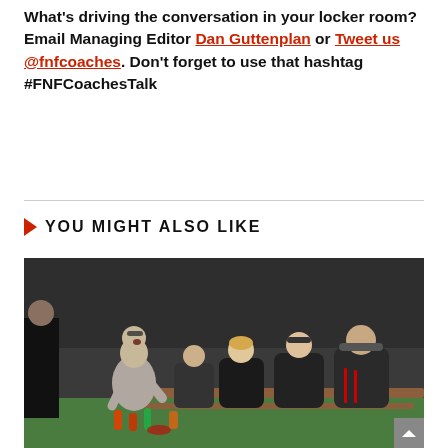What's driving the conversation in your locker room? Email Managing Editor Dan Guttenplan or Tweet us @fnfcoaches. Don't forget to use that hashtag #FNFCoachesTalk
YOU MIGHT ALSO LIKE
[Figure (photo): A football coach crouching down and talking to players seated on a bench on the sideline, during a game. Players are wearing dark uniforms.]